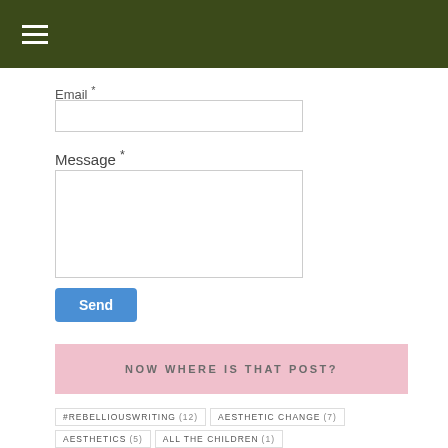≡
Email *
Message *
Send
NOW WHERE IS THAT POST?
#REBELLIOUSWRITING (12)
AESTHETIC CHANGE (7)
AESTHETICS (5)
ALL THE CHILDREN (1)
ALPHA SQUAD (7)
ANCORA SPEI (3)
ANIMALS (1)
ANIMATION (1)
ANNE OF GREEN GABLES (1)